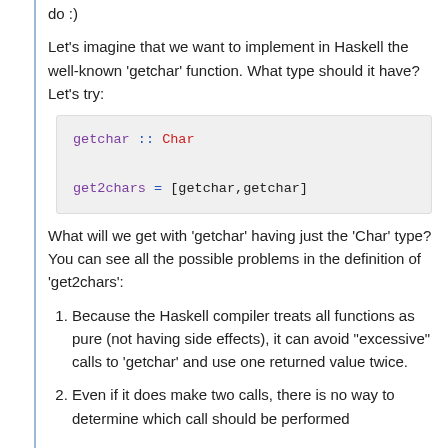do :)
Let's imagine that we want to implement in Haskell the well-known 'getchar' function. What type should it have? Let's try:
getchar :: Char

get2chars = [getchar,getchar]
What will we get with 'getchar' having just the 'Char' type? You can see all the possible problems in the definition of 'get2chars':
Because the Haskell compiler treats all functions as pure (not having side effects), it can avoid "excessive" calls to 'getchar' and use one returned value twice.
Even if it does make two calls, there is no way to determine which call should be performed